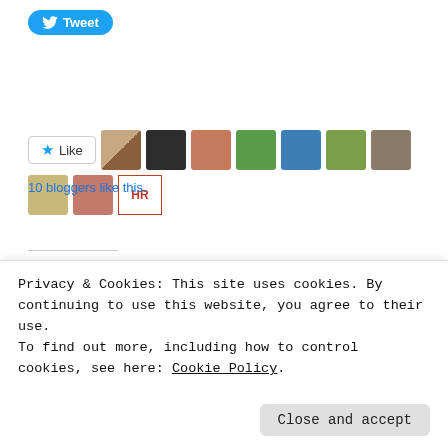[Figure (screenshot): Twitter Tweet button (blue pill-shaped button with bird icon and 'Tweet' text)]
[Figure (screenshot): Like button with star icon and 10 blogger avatar thumbnails beside it]
10 bloggers like this.
RELATED
[Figure (photo): Book cover image with forest/water landscape, text: A NOVEL BY THE EDGAR AWARD FINALIST AUTHOR OF THE PREACHER'S SON]
[Figure (photo): Movie/book cover with a man and woman looking alarmed, appears to be a thriller]
Thriller From the Eighties
Privacy & Cookies: This site uses cookies. By continuing to use this website, you agree to their use.
To find out more, including how to control cookies, see here: Cookie Policy
Close and accept